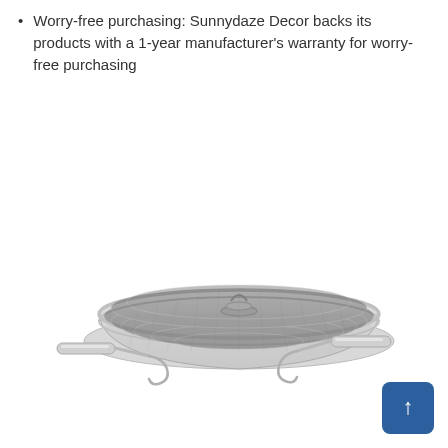Worry-free purchasing: Sunnydaze Decor backs its products with a 1-year manufacturer's warranty for worry-free purchasing
[Figure (photo): A stainless steel mesh splatter screen or fire pit cover with two separate hook/lift tools placed on either side, shown on a white background.]